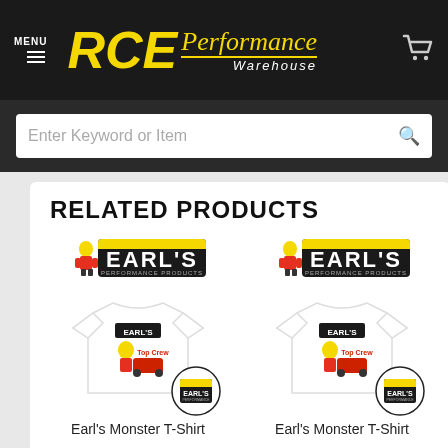RCE Performance Warehouse
Enter Keyword or Item
RELATED PRODUCTS
[Figure (photo): Earl's Monster T-Shirt product image with Earl's Performance Products logo]
Earl's Monster T-Shirt
[Figure (photo): Earl's Monster T-Shirt product image with Earl's Performance Products logo]
Earl's Monster T-Shirt